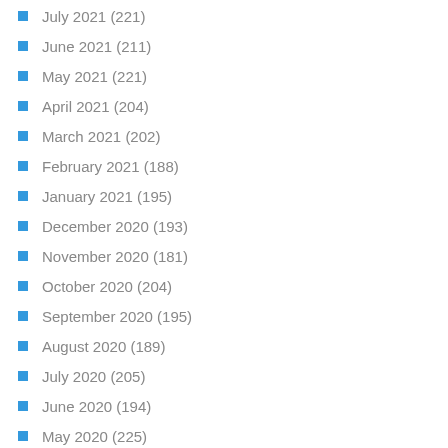July 2021 (221)
June 2021 (211)
May 2021 (221)
April 2021 (204)
March 2021 (202)
February 2021 (188)
January 2021 (195)
December 2020 (193)
November 2020 (181)
October 2020 (204)
September 2020 (195)
August 2020 (189)
July 2020 (205)
June 2020 (194)
May 2020 (225)
April 2020 (...)